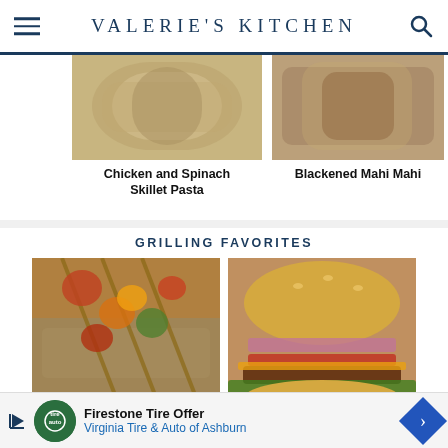VALERIE'S KITCHEN
[Figure (photo): Chicken and Spinach Skillet Pasta dish photo]
Chicken and Spinach Skillet Pasta
[Figure (photo): Blackened Mahi Mahi dish photo]
Blackened Mahi Mahi
GRILLING FAVORITES
[Figure (photo): Pineapple Chicken kabobs on rice photo]
Pineapple Chicken
[Figure (photo): Classic Beef Burgers photo]
Classic Beef Burgers
Firestone Tire Offer
Virginia Tire & Auto of Ashburn